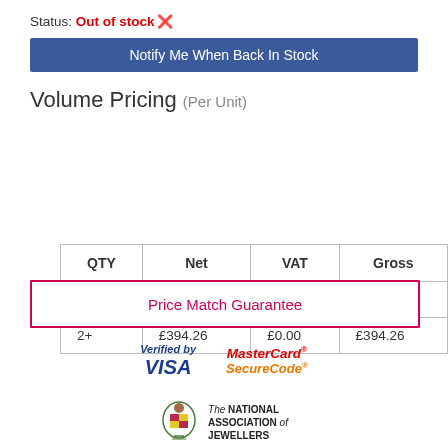Status: Out of stock ✗
Notify Me When Back In Stock
Volume Pricing (Per Unit)
| QTY | Net | VAT | Gross |
| --- | --- | --- | --- |
| 1+ | £398.81 | £0.00 | £398.81 |
| 2+ | £394.26 | £0.00 | £394.26 |
Price Match Guarantee
[Figure (logo): Verified by VISA logo]
[Figure (logo): MasterCard SecureCode logo]
[Figure (logo): The National Association of Jewellers crest and text logo]